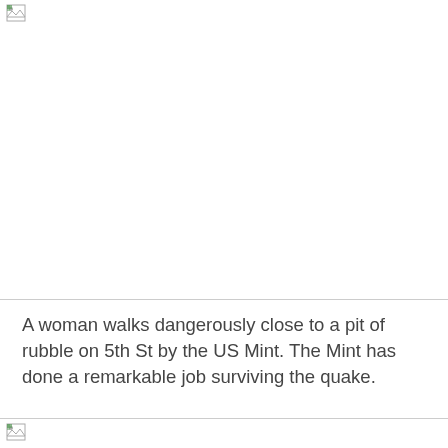[Figure (photo): A broken/unloaded image placeholder at the top of the page, showing a small broken image icon in the upper left corner with a border separating it from the content below.]
A woman walks dangerously close to a pit of rubble on 5th St by the US Mint. The Mint has done a remarkable job surviving the quake.
[Figure (photo): A broken/unloaded image placeholder at the bottom of the page, showing a small broken image icon in the upper left corner.]